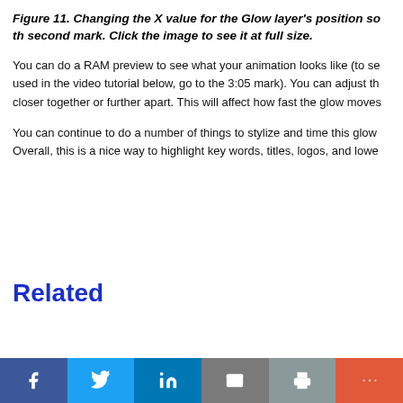Figure 11. Changing the X value for the Glow layer's position so th second mark. Click the image to see it at full size.
You can do a RAM preview to see what your animation looks like (to se used in the video tutorial below, go to the 3:05 mark). You can adjust th closer together or further apart. This will affect how fast the glow moves
You can continue to do a number of things to stylize and time this glow Overall, this is a nice way to highlight key words, titles, logos, and lowe
Related